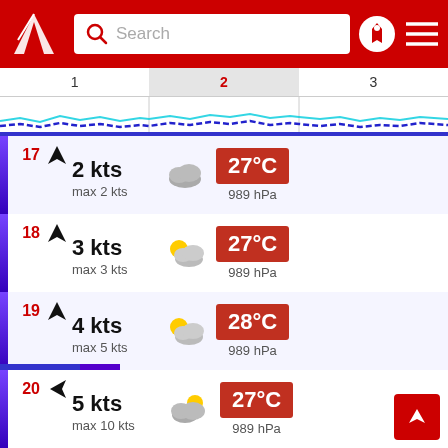[Figure (screenshot): App header with red background, logo, search bar, bookmark and menu icons]
1  2  3  (tab navigation)
[Figure (continuous-plot): Wind/wave chart with blue lines showing forecast data across days 1, 2, 3]
17  2 kts  max 2 kts  27°C  989 hPa
18  3 kts  max 3 kts  27°C  989 hPa
19  4 kts  max 5 kts  28°C  989 hPa
20  5 kts  max 10 kts  27°C  989 hPa
21  3 kts  max 11 kts  26°C  989 hPa